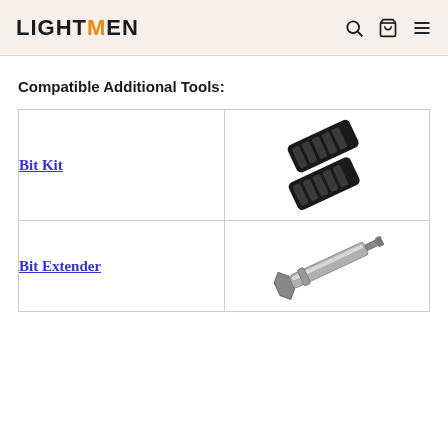LIGHTMEN
Compatible Additional Tools:
| Tool | Image |
| --- | --- |
| Bit Kit | [image] |
| Bit Extender | [image] |